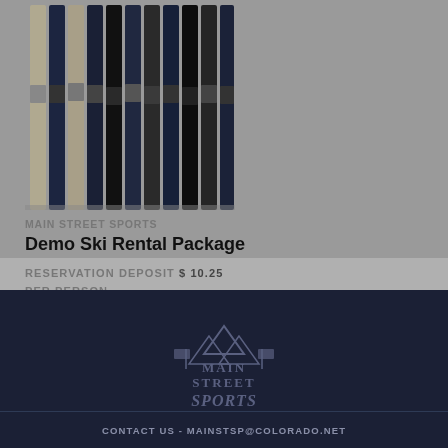[Figure (photo): Multiple skis standing vertically, dark navy and grey colors, viewed from above at an angle, ski bindings visible]
MAIN STREET SPORTS
Demo Ski Rental Package
RESERVATION DEPOSIT $ 10.25 PER PERSON
[Figure (logo): Main Street Sports logo — mountain peaks with two flags and stylized script lettering on dark navy background]
CONTACT US - MAINSTSP@COLORADO.NET